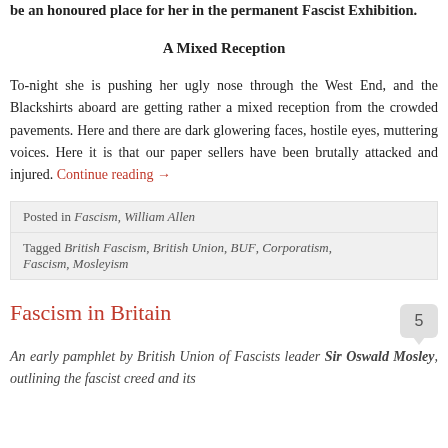be an honoured place for her in the permanent Fascist Exhibition.
A Mixed Reception
To-night she is pushing her ugly nose through the West End, and the Blackshirts aboard are getting rather a mixed reception from the crowded pavements. Here and there are dark glowering faces, hostile eyes, muttering voices. Here it is that our paper sellers have been brutally attacked and injured. Continue reading →
| Posted in Fascism, William Allen |
| Tagged British Fascism, British Union, BUF, Corporatism, Fascism, Mosleyism |
Fascism in Britain
An early pamphlet by British Union of Fascists leader Sir Oswald Mosley, outlining the fascist creed and its